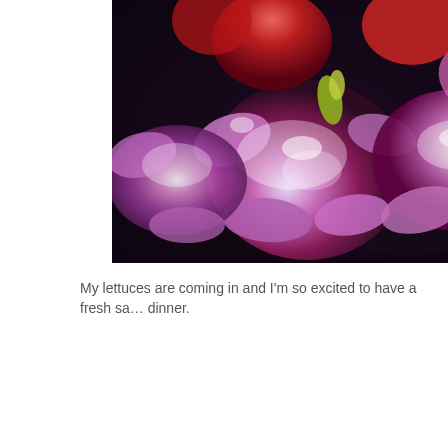[Figure (photo): Close-up photograph of red and purple lettuce plants growing in dark soil/mulch, lit with bright sunlight highlighting the ruffled leaves in shades of magenta, purple, red, and white.]
My lettuces are coming in and I'm so excited to have a fresh sa… dinner.